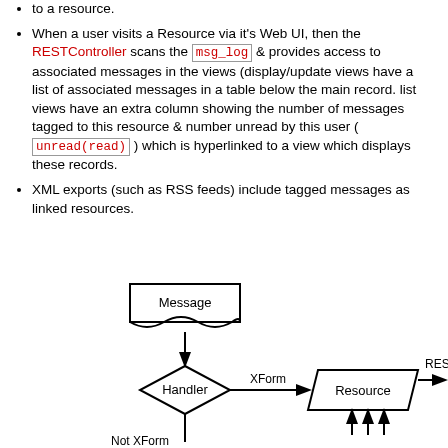to a resource.
When a user visits a Resource via it's Web UI, then the RESTController scans the msg_log & provides access to associated messages in the views (display/update views have a list of associated messages in a table below the main record. list views have an extra column showing the number of messages tagged to this resource & number unread by this user ( unread(read) ) which is hyperlinked to a view which displays these records.
XML exports (such as RSS feeds) include tagged messages as linked resources.
[Figure (flowchart): Flowchart showing Message flowing down to a Handler diamond, which branches via XForm to a Resource parallelogram (REST Controller to the right), and Not XForm downward. Resource has upward arrows from below.]